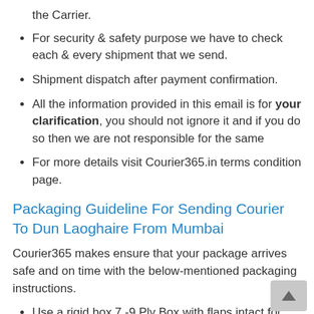the Carrier.
For security & safety purpose we have to check each & every shipment that we send.
Shipment dispatch after payment confirmation.
All the information provided in this email is for your clarification, you should not ignore it and if you do so then we are not responsible for the same
For more details visit Courier365.in terms condition page.
Packaging Guideline For Sending Courier To Dun Laoghaire From Mumbai
Courier365 makes ensure that your package arrives safe and on time with the below-mentioned packaging instructions.
Use a rigid box 7 -9 Ply Box with flaps intact for packaging.